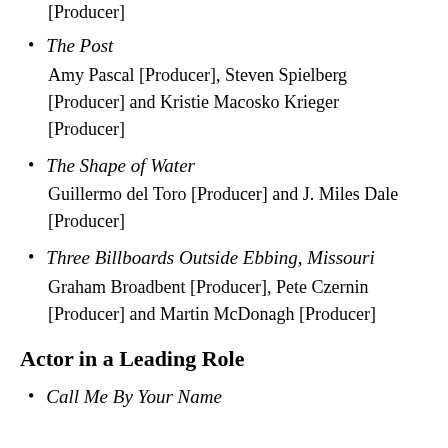[Producer]
The Post
Amy Pascal [Producer], Steven Spielberg [Producer] and Kristie Macosko Krieger [Producer]
The Shape of Water
Guillermo del Toro [Producer] and J. Miles Dale [Producer]
Three Billboards Outside Ebbing, Missouri
Graham Broadbent [Producer], Pete Czernin [Producer] and Martin McDonagh [Producer]
Actor in a Leading Role
Call Me By Your Name